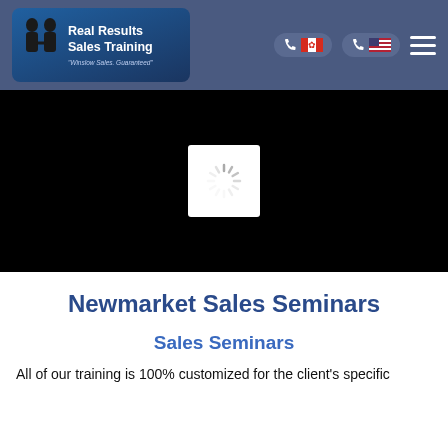Real Results Sales Training — "Winslow Sales Guaranteed"
[Figure (screenshot): Black hero/video area with a loading spinner icon in the center]
Newmarket Sales Seminars
Sales Seminars
All of our training is 100% customized for the client's specific